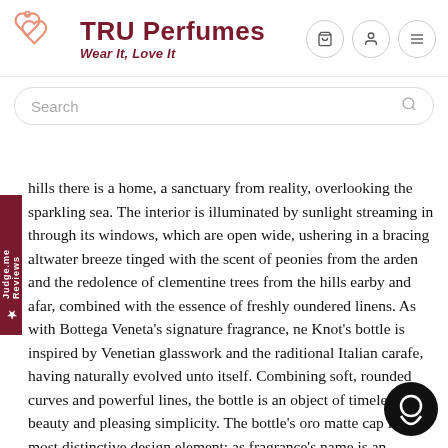[Figure (logo): TRU Perfumes logo with interlocked hearts icon in salmon/pink color, brand name in dark red, tagline 'Wear It, Love It' in italic dark red]
[Figure (screenshot): Search bar with placeholder text 'Search' and magnifying glass icon]
hills there is a home, a sanctuary from reality, overlooking the sparkling sea. The interior is illuminated by sunlight streaming in through its windows, which are open wide, ushering in a bracing altwater breeze tinged with the scent of peonies from the arden and the redolence of clementine trees from the hills earby and afar, combined with the essence of freshly oundered linens. As with Bottega Veneta's signature fragrance, ne Knot's bottle is inspired by Venetian glasswork and the raditional Italian carafe, having naturally evolved unto itself. Combining soft, rounded curves and powerful lines, the bottle is an object of timeless beauty and pleasing simplicity. The bottle's oro matte cap is its most distinctive design element; as fragrance's name is an homage to Bottega Veneta's be Knot clutch, Tomas Maier designed the cap to echo the b iconic knot-shaped closure. The result is a vessel with the